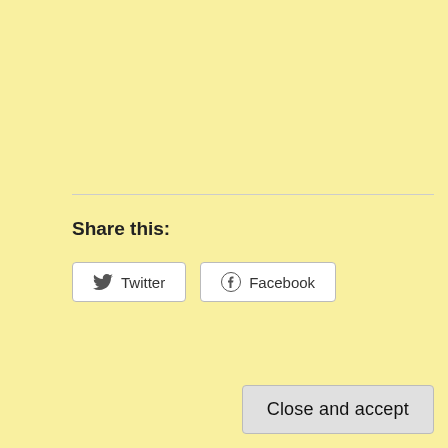Share this:
[Figure (other): Twitter and Facebook share buttons with icons]
[Figure (other): Like button with star icon]
Be the first to like this.
Privacy & Cookies: This site uses cookies. By continuing to use this website, you agree to their use.
To find out more, including how to control cookies, see here:
Cookie Policy
Close and accept